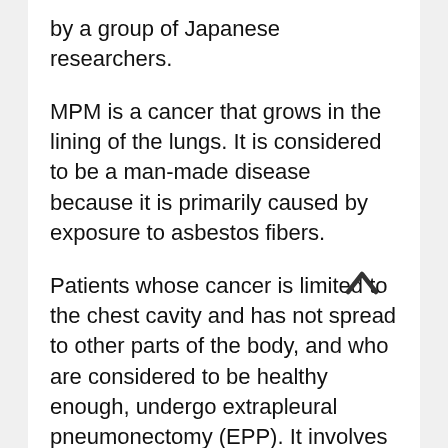by a group of Japanese researchers.
MPM is a cancer that grows in the lining of the lungs. It is considered to be a man-made disease because it is primarily caused by exposure to asbestos fibers.
Patients whose cancer is limited to the chest cavity and has not spread to other parts of the body, and who are considered to be healthy enough, undergo extrapleural pneumonectomy (EPP). It involves the removal of a lung, a portion of the diaphragm, and the linings of the lungs and heart.